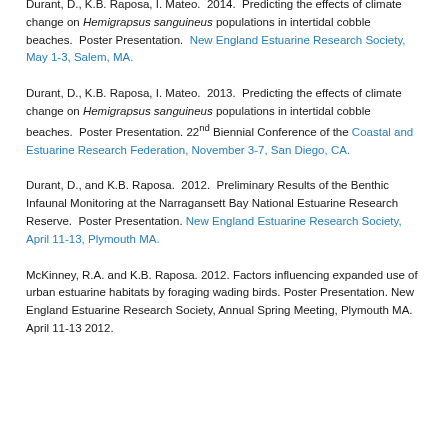Durant, D., K.B. Raposa, I. Mateo. 2014. Predicting the effects of climate change on Hemigrapsus sanguineus populations in intertidal cobble beaches. Poster Presentation. New England Estuarine Research Society, May 1-3, Salem, MA.
Durant, D., K.B. Raposa, I. Mateo. 2013. Predicting the effects of climate change on Hemigrapsus sanguineus populations in intertidal cobble beaches. Poster Presentation. 22nd Biennial Conference of the Coastal and Estuarine Research Federation, November 3-7, San Diego, CA.
Durant, D., and K.B. Raposa. 2012. Preliminary Results of the Benthic Infaunal Monitoring at the Narragansett Bay National Estuarine Research Reserve. Poster Presentation. New England Estuarine Research Society, April 11-13, Plymouth MA.
McKinney, R.A. and K.B. Raposa. 2012. Factors influencing expanded use of urban estuarine habitats by foraging wading birds. Poster Presentation. New England Estuarine Research Society, Annual Spring Meeting, Plymouth MA. April 11-13 2012.